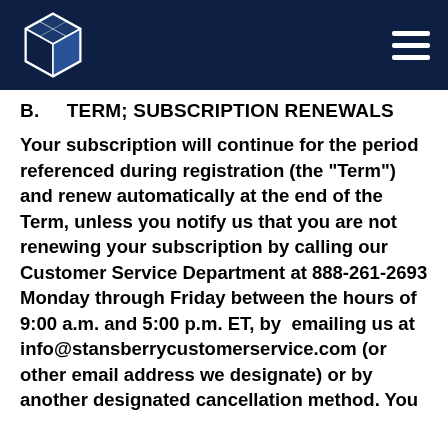Stansberry logo and navigation header
B.    TERM; SUBSCRIPTION RENEWALS
Your subscription will continue for the period referenced during registration (the "Term") and renew automatically at the end of the Term, unless you notify us that you are not renewing your subscription by calling our Customer Service Department at 888-261-2693 Monday through Friday between the hours of 9:00 a.m. and 5:00 p.m. ET, by emailing us at info@stansberrycustomerservice.com (or other email address we designate) or by another designated cancellation method. You